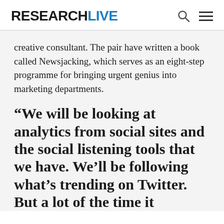RESEARCHLIVE
creative consultant. The pair have written a book called Newsjacking, which serves as an eight-step programme for bringing urgent genius into marketing departments.
“We will be looking at analytics from social sites and the social listening tools that we have. We’ll be following what’s trending on Twitter. But a lot of the time it